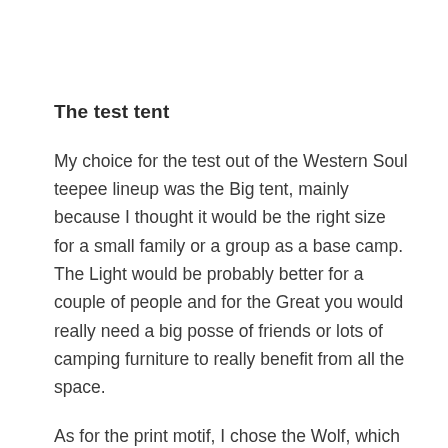The test tent
My choice for the test out of the Western Soul teepee lineup was the Big tent, mainly because I thought it would be the right size for a small family or a group as a base camp. The Light would be probably better for a couple of people and for the Great you would really need a big posse of friends or lots of camping furniture to really benefit from all the space.
As for the print motif, I chose the Wolf, which can be found roaming in the forests of my country of residence, Finland. Because of the abundance of mosquitoes and midges here during the summer, I